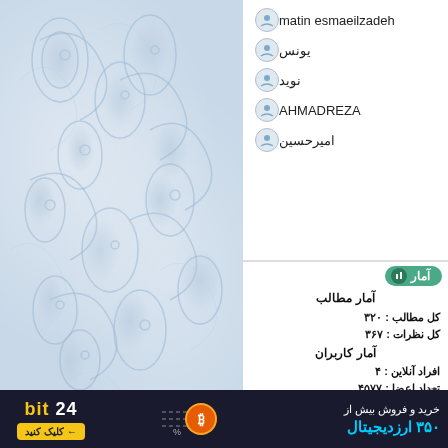[Figure (illustration): Left panel with blue paisley/floral decorative pattern background]
matin esmaeilzadeh
یونس
نوید
AHMADREZA
امیرحسین
آمار
آمار مطالب
کل مطالب : ۳۲۰
کل نظرات : ۳۶۷
آمار کاربران
افراد آنلاین : ۴
تعداد اعضا : ۴۵۷۷
آمار بازدید
بازدید امروز : ۲۴
بازدید دیروز : ۲۵۸
ورودی امروز گوگل : ۰
ورودی گوگل دیروز : ۰
آی پی امروز : ۱۱
آی پی دیروز : ۴۶
بازدید هفته : ۱٫۵۱۷
بازدید ماه : ۵٫۰۴۴
بازدید سال : ۶۱٫۲۳۷
بازدید کلی : ۲٫۰۲۹٫۴۶۳
اطلاعات شما
: ۳٫۲۳۸٫۸۹٫۱۵۷
[Figure (infographic): Advertisement banner for bit24 cryptocurrency exchange. Text: خرید و فروش بیش از ۳۵۰ ارزدیجیتال with Bitcoin logo and bit24 branding and کلیک کنید button]